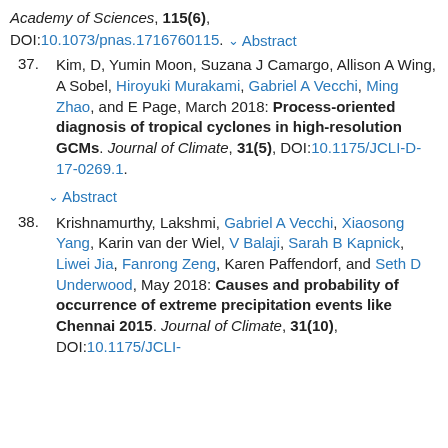Academy of Sciences, 115(6), DOI:10.1073/pnas.1716760115. ↓ Abstract
37. Kim, D, Yumin Moon, Suzana J Camargo, Allison A Wing, A Sobel, Hiroyuki Murakami, Gabriel A Vecchi, Ming Zhao, and E Page, March 2018: Process-oriented diagnosis of tropical cyclones in high-resolution GCMs. Journal of Climate, 31(5), DOI:10.1175/JCLI-D-17-0269.1. ↓ Abstract
38. Krishnamurthy, Lakshmi, Gabriel A Vecchi, Xiaosong Yang, Karin van der Wiel, V Balaji, Sarah B Kapnick, Liwei Jia, Fanrong Zeng, Karen Paffendorf, and Seth D Underwood, May 2018: Causes and probability of occurrence of extreme precipitation events like Chennai 2015. Journal of Climate, 31(10), DOI:10.1175/JCLI-